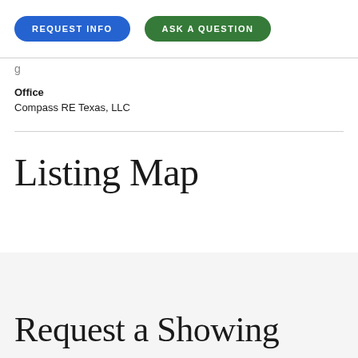[Figure (screenshot): Two buttons: REQUEST INFO (blue rounded) and ASK A QUESTION (green rounded)]
Office
Compass RE Texas, LLC
Listing Map
Request a Showing